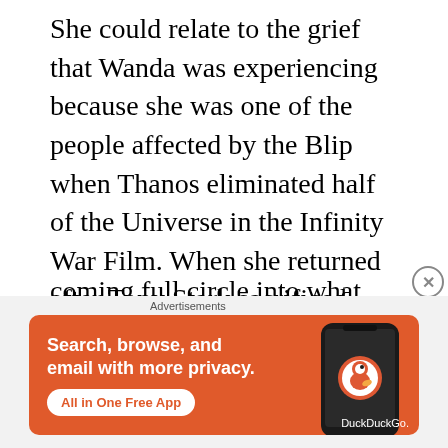She could relate to the grief that Wanda was experiencing because she was one of the people affected by the Blip when Thanos eliminated half of the Universe in the Infinity War Film. When she returned after Tony Stark sacrificed himself to bring back the universe she learned that her mother passed away from cancer. The final battle between Wanda and Agatha was a visual treat but also served as Wanda coming full circle into what she truly was...
[Figure (infographic): DuckDuckGo advertisement banner on orange background. Shows text 'Search, browse, and email with more privacy.' with 'All in One Free App' button, and a phone with DuckDuckGo logo on the right.]